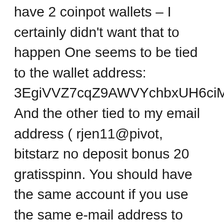have 2 coinpot wallets – I certainly didn't want that to happen One seems to be tied to the wallet address: 3EgiVVZ7cqZ9AWVYchbxUH6ciM4pQ5dRYq And the other tied to my email address ( rjen11@pivot, bitstarz no deposit bonus 20 gratisspinn. You should have the same account if you use the same e-mail address to register on all the faucets. Fortunejack casino is one of the renowned and best cryptocurrency casino available online, bitstarz no deposit bonus 20 giri gratuiti. TrustDice Casino crypto Faucet. You also can try to multiply your earning using their high/low game which is a fair game, Good luck. bitstarz no deposit bonus 20 darmowe